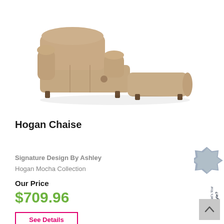[Figure (photo): Tan/mocha upholstered chaise lounge recliner chair with wide foot extension, viewed from a slight angle, on white background]
Hogan Chaise
Signature Design By Ashley
Hogan Mocha Collection
Our Price
$709.96
See Details
[Figure (illustration): What's Your Sofa Style? badge/button on right side of page, blue-gray starburst shape with rotated text]
[Figure (illustration): Scroll to top button, gray square with upward chevron arrow]